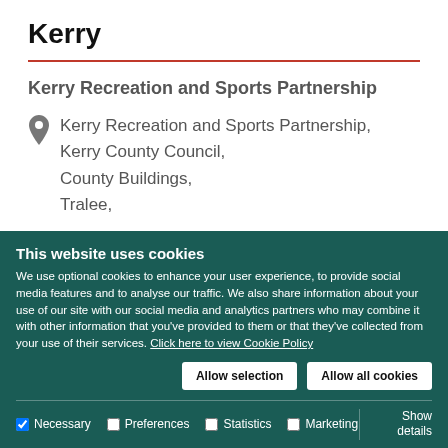Kerry
Kerry Recreation and Sports Partnership
Kerry Recreation and Sports Partnership, Kerry County Council, County Buildings, Tralee,
This website uses cookies
We use optional cookies to enhance your user experience, to provide social media features and to analyse our traffic. We also share information about your use of our site with our social media and analytics partners who may combine it with other information that you've provided to them or that they've collected from your use of their services. Click here to view Cookie Policy
Allow selection | Allow all cookies
Necessary | Preferences | Statistics | Marketing | Show details